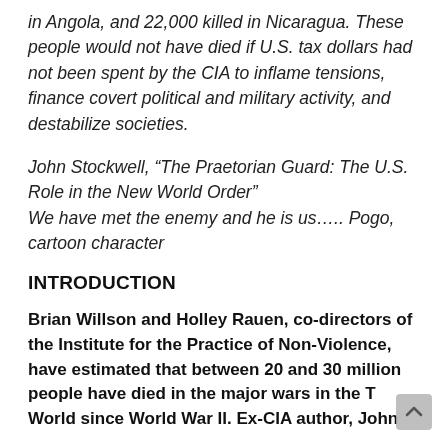in Angola, and 22,000 killed in Nicaragua. These people would not have died if U.S. tax dollars had not been spent by the CIA to inflame tensions, finance covert political and military activity, and destabilize societies.
John Stockwell, “The Praetorian Guard: The U.S. Role in the New World Order”
We have met the enemy and he is us….. Pogo, cartoon character
INTRODUCTION
Brian Willson and Holley Rauen, co-directors of the Institute for the Practice of Non-Violence, have estimated that between 20 and 30 million people have died in the major wars in the Third World since World War II. Ex-CIA author, John